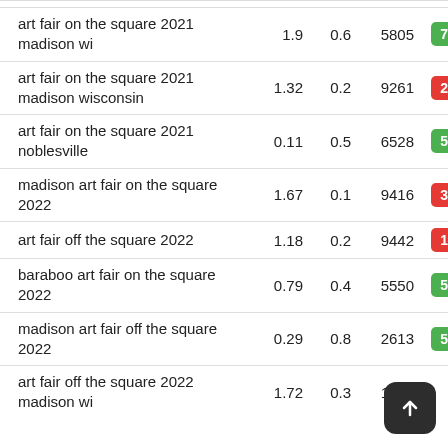| Keyword | Col1 | Col2 | Volume | Score |
| --- | --- | --- | --- | --- |
| art fair on the square 2021 madison wi | 1.9 | 0.6 | 5805 | 73 |
| art fair on the square 2021 madison wisconsin | 1.32 | 0.2 | 9261 | 26 |
| art fair on the square 2021 noblesville | 0.11 | 0.5 | 6528 | 53 |
| madison art fair on the square 2022 | 1.67 | 0.1 | 9416 | 36 |
| art fair off the square 2022 | 1.18 | 0.2 | 9442 | 14 |
| baraboo art fair on the square 2022 | 0.79 | 0.4 | 5550 | 53 |
| madison art fair off the square 2022 | 0.29 | 0.8 | 2613 | 58 |
| art fair off the square 2022 madison wi | 1.72 | 0.3 | 1711 |  |